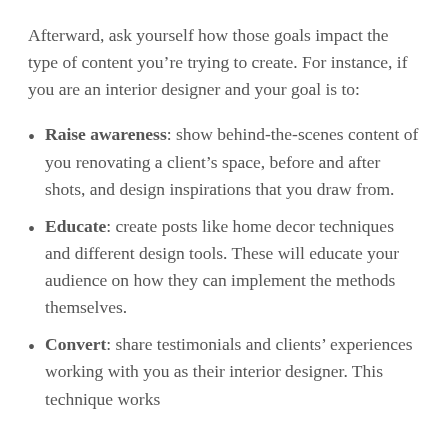Afterward, ask yourself how those goals impact the type of content you're trying to create. For instance, if you are an interior designer and your goal is to:
Raise awareness: show behind-the-scenes content of you renovating a client's space, before and after shots, and design inspirations that you draw from.
Educate: create posts like home decor techniques and different design tools. These will educate your audience on how they can implement the methods themselves.
Convert: share testimonials and clients' experiences working with you as their interior designer. This technique works